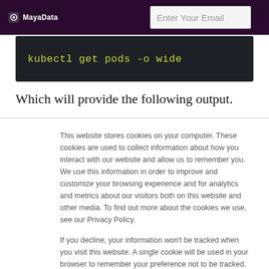MayaData | Enter Your Email
[Figure (screenshot): Code block showing: kubectl get pods -o wide]
Which will provide the following output.
This website stores cookies on your computer. These cookies are used to collect information about how you interact with our website and allow us to remember you. We use this information in order to improve and customize your browsing experience and for analytics and metrics about our visitors both on this website and other media. To find out more about the cookies we use, see our Privacy Policy.
If you decline, your information won't be tracked when you visit this website. A single cookie will be used in your browser to remember your preference not to be tracked.
Accept | Decline